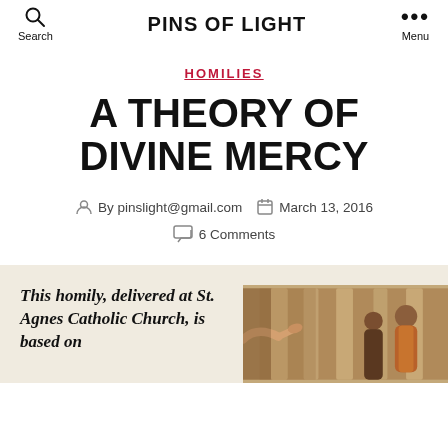Search  PINS OF LIGHT  Menu
HOMILIES
A THEORY OF DIVINE MERCY
By pinslight@gmail.com  March 13, 2016  6 Comments
This homily, delivered at St. Agnes Catholic Church, is based on
[Figure (photo): A painting or fresco showing a hand pointing and robed figures in the background]